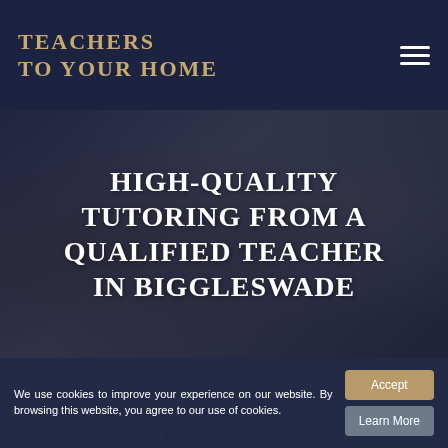[Figure (logo): Teachers To Your Home logo in gold serif uppercase text on dark navy background]
[Figure (photo): Hero image with blurred background of a person holding a book, overlaid with dark tint and large white uppercase text: HIGH-QUALITY TUTORING FROM A QUALIFIED TEACHER IN BIGGLESWADE]
HIGH-QUALITY TUTORING FROM A QUALIFIED TEACHER IN BIGGLESWADE
We use cookies to improve your experience on our website. By browsing this website, you agree to our use of cookies.
Customer Reviews